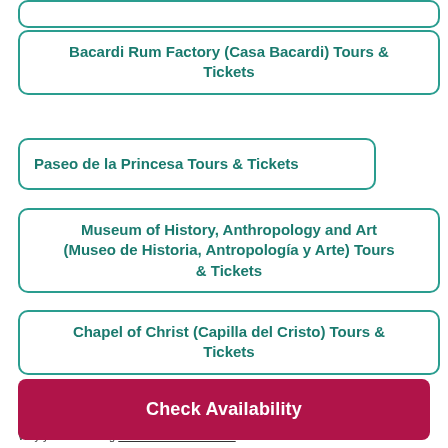Bacardi Rum Factory (Casa Bacardi) Tours & Tickets
Paseo de la Princesa Tours & Tickets
Museum of History, Anthropology and Art (Museo de Historia, Antropología y Arte) Tours & Tickets
Chapel of Christ (Capilla del Cristo) Tours & Tickets
Icacos Island (Cayo Icacos) Tours & Tickets
Why you are seeing these recommendations.
Check Availability